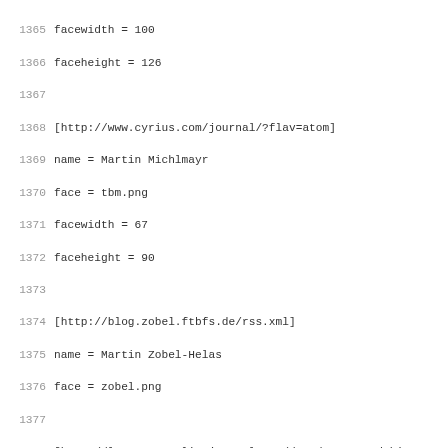1365 facewidth = 100
1366 faceheight = 126
1367
1368 [http://www.cyrius.com/journal/?flav=atom]
1369 name = Martin Michlmayr
1370 face = tbm.png
1371 facewidth = 67
1372 faceheight = 90
1373
1374 [http://blog.zobel.ftbfs.de/rss.xml]
1375 name = Martin Zobel-Helas
1376 face = zobel.png
1377
1378 [http://lavaramano.livejournal.com/data/rss?tag=debian-
1379 name = Mauro Lizaur
1380 face = mauro.png
1381 facewidth = 79
1382 faceheight = 100
1383
1384 [http://www.mattb.net.nz/blog/feed/]
1385 name = Matt Brown
1386 face = mattb.png
1387 facewidth = 65
1388 faceheight = 85
1389
1390 # 2009-11-10 - no Debian content for a while, mdz is al
1391 # 2010-04-20 - PDO does not require posting about Debia
1392 [http://mdzlog.alcor.net/feed/]
1393 name = Matt Zimmerman
1394 face = mdz.png
1395 facewidth = 65
1396 faceheight = 90